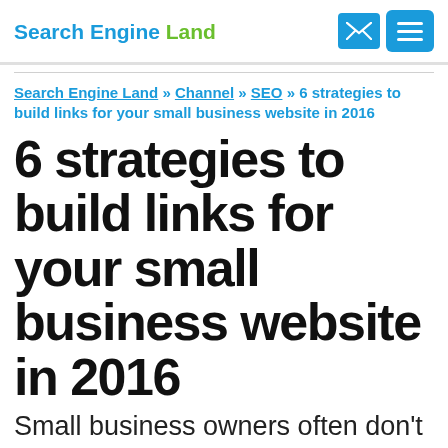Search Engine Land
Search Engine Land » Channel » SEO » 6 strategies to build links for your small business website in 2016
6 strategies to build links for your small business website in 2016
Small business owners often don't know